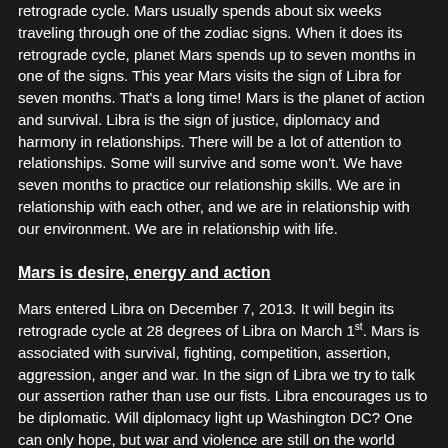retrograde cycle. Mars usually spends about six weeks traveling through one of the zodiac signs. When it does its retrograde cycle, planet Mars spends up to seven months in one of the signs. This year Mars visits the sign of Libra for seven months. That's a long time! Mars is the planet of action and survival. Libra is the sign of justice, diplomacy and harmony in relationships. There will be a lot of attention to relationships. Some will survive and some won't. We have seven months to practice our relationship skills. We are in relationship with each other, and we are in relationship with our environment. We are in relationship with life.
Mars is desire, energy and action
Mars entered Libra on December 7, 2013. It will begin its retrograde cycle at 28 degrees of Libra on March 1st. Mars is associated with survival, fighting, competition, assertion, aggression, anger and war. In the sign of Libra we try to talk our assertion rather than use our fists. Libra encourages us to be diplomatic. Will diplomacy light up Washington DC? One can only hope, but war and violence are still on the world stage.